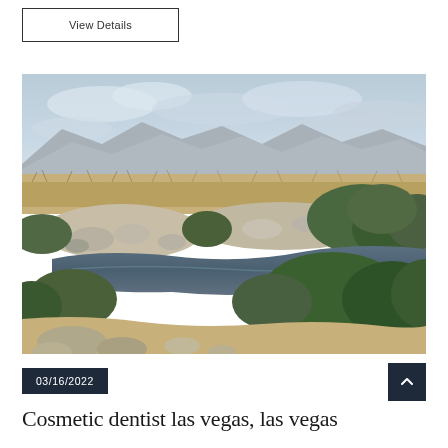View Details
[Figure (photo): Desert landscape with a still water pool, rocky shoreline, dense shrubs and dry grasses in the foreground, and mountain ridges under a cloudy sky in the background]
03/16/2022
Cosmetic dentist las vegas, las vegas